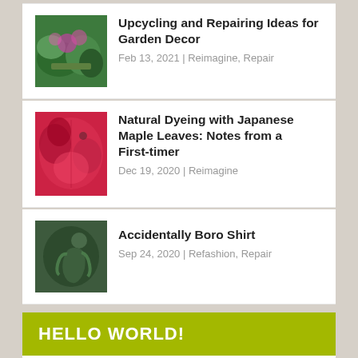Upcycling and Repairing Ideas for Garden Decor — Feb 13, 2021 | Reimagine, Repair
Natural Dyeing with Japanese Maple Leaves: Notes from a First-timer — Dec 19, 2020 | Reimagine
Accidentally Boro Shirt — Sep 24, 2020 | Refashion, Repair
HELLO WORLD!
Visitors
| Flag | CC | Count | Flag | CC | Count |
| --- | --- | --- | --- | --- | --- |
| 🇺🇸 | US | 117,552 | 🇪🇸 | ES | 1,590 |
| 🇬🇧 | GB | 8,806 | 🇳🇱 | NL | 1,575 |
| 🇨🇦 | CA | 7,321 | 🇳🇬 | NG | 1,518 |
| 🇦🇺 | AU | 5,087 | 🇹🇭 | TH | 1,487 |
| 🇯🇵 | JP | 4,978 | 🇲🇾 | MY | 1,484 |
| 🇫🇷 | FR | 3,820 | 🇭🇰 | HK | 1,192 |